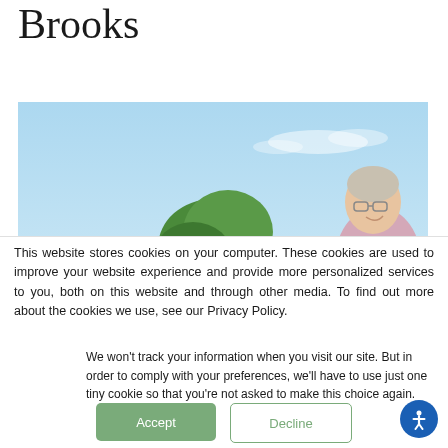Brooks
[Figure (photo): Outdoor photo of an older man with glasses, smiling, against a blue sky background with a green tree in the background. The photo is partially cropped.]
This website stores cookies on your computer. These cookies are used to improve your website experience and provide more personalized services to you, both on this website and through other media. To find out more about the cookies we use, see our Privacy Policy.
We won't track your information when you visit our site. But in order to comply with your preferences, we'll have to use just one tiny cookie so that you're not asked to make this choice again.